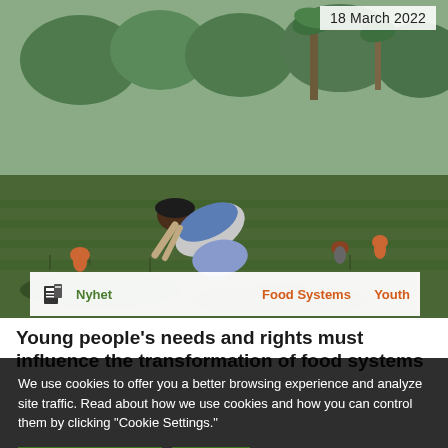[Figure (photo): A person bending over crops in a green agricultural field, with other farmers and lush vegetation in the background. Tropical/African rural farming scene.]
18 March 2022
Nyhet   Food Systems   Youth
Young people's needs and rights must influence the transformation of food systems
We use cookies to offer you a better browsing experience and analyze site traffic. Read about how we use cookies and how you can control them by clicking "Cookie Settings."
✓ Accept Cookies   Close   › Cookie Settings